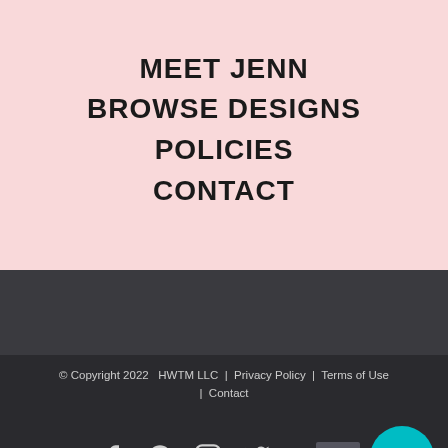MEET JENN
BROWSE DESIGNS
POLICIES
CONTACT
© Copyright 2022   HWTM LLC  |  Privacy Policy  |  Terms of Use  |  Contact
[Figure (other): Social media icons: Facebook, Pinterest, Instagram, Twitter; back-to-top button and chat button]